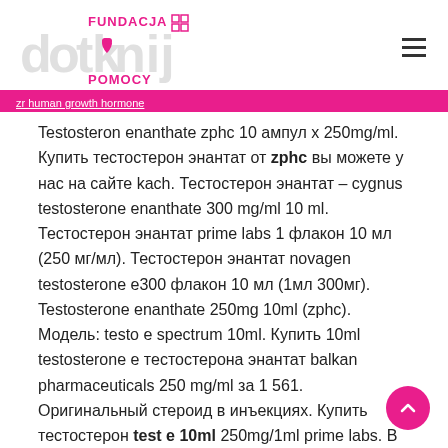[Figure (logo): Fundacja Dotknij Pomocy logo with pink heart and text]
zr human growth hormone (link, partially visible)
Testosteron enanthate zphc 10 ампул х 250mg/ml. Купить тестостерон энантат от zphc вы можете у нас на сайте kach. Тестостерон энантат – cygnus testosterone enanthate 300 mg/ml 10 ml. Тестостерон энантат prime labs 1 флакон 10 мл (250 мг/мл). Тестостерон энантат novagen testosterone e300 флакон 10 мл (1мл 300мг). Testosterone enanthate 250mg 10ml (zphc). Модель: testo e spectrum 10ml. Купить 10ml testosterone e тестостерона энантат balkan pharmaceuticals 250 mg/ml за 1 561. Оригинальный стероид в инъекциях. Купить тестостерон test е 10ml 250mg/1ml prime labs. В основе препарата тест е лежит тестостерон энантат. Это вещество отличается